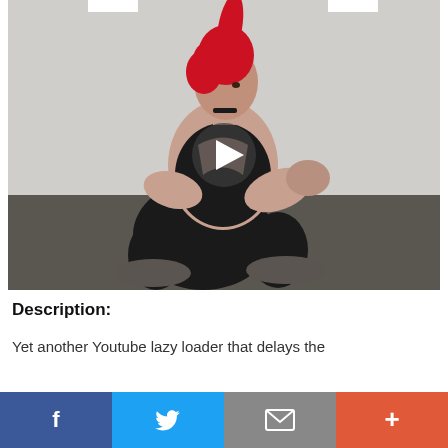[Figure (photo): A woman with bright red hair in a squat position, wearing black workout clothes and patterned sneakers, in a gym/studio setting. A play button overlay is visible in the center, indicating a video thumbnail.]
Description:
Yet another Youtube lazy loader that delays the
[Figure (other): Social share bar with four buttons: Facebook (blue), Twitter (light blue), Email (gray), and More/Plus (orange-red)]